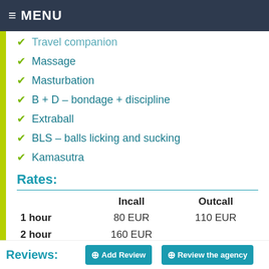MENU
Travel companion
Massage
Masturbation
B + D – bondage + discipline
Extraball
BLS – balls licking and sucking
Kamasutra
Rates:
|  | Incall | Outcall |
| --- | --- | --- |
| 1 hour | 80 EUR | 110 EUR |
| 2 hour | 160 EUR |  |
| 3 hour | 240 EUR | 250 EUR |
| 6 hour | 480 EUR |  |
Reviews: